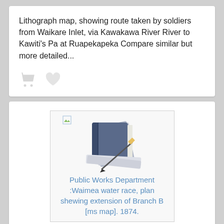Lithograph map, showing route taken by soldiers from Waikare Inlet, via Kawakawa River River to Kawiti's Pa at Ruapekapeka Compare similar but more detailed...
[Figure (other): Cart icon and heart icon (greyed out)]
[Figure (illustration): Thumbnail image placeholder with stacked books/documents icon overlaid. Title text reads: Public Works Department :Waimea water race, plan shewing extension of Branch B [ms map]. 1874.]